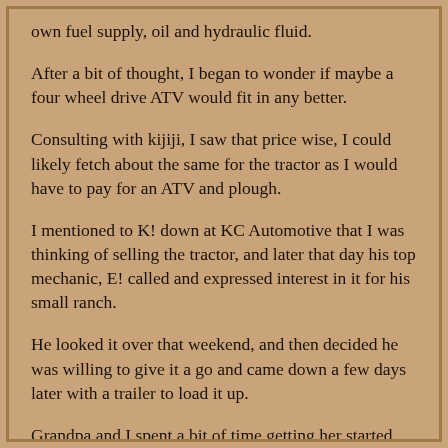own fuel supply, oil and hydraulic fluid.
After a bit of thought, I began to wonder if maybe a four wheel drive ATV would fit in any better.
Consulting with kijiji, I saw that price wise, I could likely fetch about the same for the tractor as I would have to pay for an ATV and plough.
I mentioned to K! down at KC Automotive that I was thinking of selling the tractor, and later that day his top mechanic, E! called and expressed interest in it for his small ranch.
He looked it over that weekend, and then decided he was willing to give it a go and came down a few days later with a trailer to load it up.
Grandpa and I spent a bit of time getting her started,